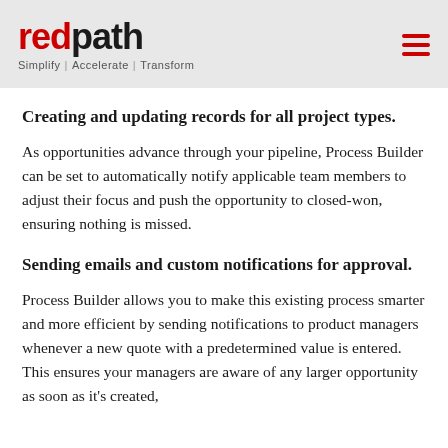redpath — Simplify | Accelerate | Transform
Creating and updating records for all project types.
As opportunities advance through your pipeline, Process Builder can be set to automatically notify applicable team members to adjust their focus and push the opportunity to closed-won, ensuring nothing is missed.
Sending emails and custom notifications for approval.
Process Builder allows you to make this existing process smarter and more efficient by sending notifications to product managers whenever a new quote with a predetermined value is entered. This ensures your managers are aware of any larger opportunity as soon as it's created, enabling them to…